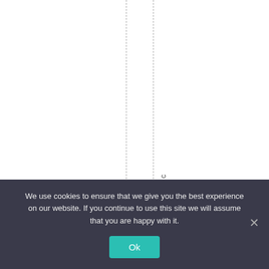nce the beginning
otion of a static, unc
We use cookies to ensure that we give you the best experience on our website. If you continue to use this site we will assume that you are happy with it.